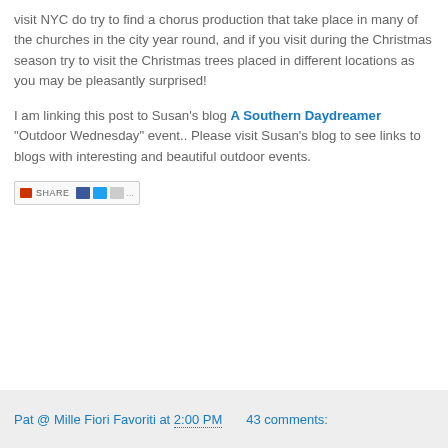visit NYC do try to find a chorus production that take place in many of the churches in the city year round, and if you visit during the Christmas season try to visit the Christmas trees placed in different locations as you may be pleasantly surprised!
I am linking this post to Susan's blog A Southern Daydreamer "Outdoor Wednesday" event.. Please visit Susan's blog to see links to blogs with interesting and beautiful outdoor events.
[Figure (screenshot): Social share bar with a red icon, SHARE label, and social media icons including Facebook, Twitter, and others]
Pat @ Mille Fiori Favoriti at 2:00 PM    43 comments: